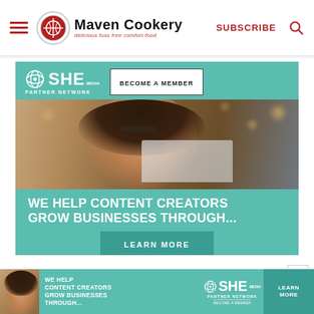Maven Cookery — delicious fuss free comfort food
[Figure (screenshot): SHE Media Partner Network advertisement banner. Teal/turquoise background with SHE Media logo and 'BECOME A MEMBER' button at top, photo of a smiling woman with glasses using a laptop in the middle, bold white text 'WE HELP CONTENT CREATORS GROW BUSINESSES THROUGH...' and a 'LEARN MORE' button at bottom.]
[Figure (screenshot): SHE Media Partner Network bottom banner advertisement. Teal background with photo of woman, text 'WE HELP CONTENT CREATORS GROW BUSINESSES THROUGH...', SHE Media Partner Network logo, and 'LEARN MORE' button.]